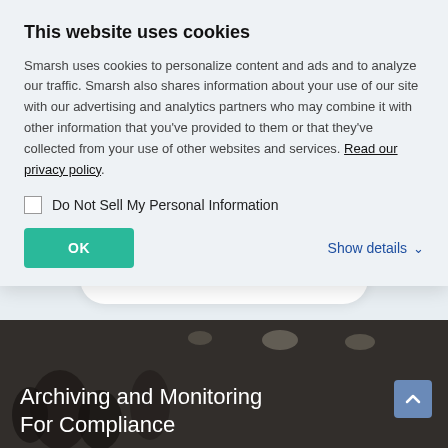This website uses cookies
Smarsh uses cookies to personalize content and ads and to analyze our traffic. Smarsh also shares information about your use of our site with our advertising and analytics partners who may combine it with other information that you’ve provided to them or that they’ve collected from your use of other websites and services. Read our privacy policy.
Do Not Sell My Personal Information
OK
Show details ⌄
MORE RESOURCES
[Figure (photo): Dark background photo of people in a room, partially visible. White text overlay reads 'Archiving and Monitoring For Compliance']
Archiving and Monitoring For Compliance